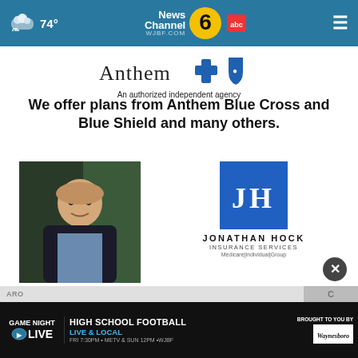74° | News Channel 6 abc | WJBF.COM
[Figure (logo): Anthem Blue Cross Blue Shield logo]
An authorized independent agency
We offer plans from Anthem Blue Cross and Blue Shield and many others.
[Figure (photo): Professional headshot of Jonathan Hock]
[Figure (logo): Jonathan Hock Insurance Services logo - JH in blue box, text below: JONATHAN HOCK INSURANCE SERVICES Medicare|Individual|Group]
JonathanHockInsurance.com
GAME NIGHT LIVE | HIGH SCHOOL FOOTBALL LIVE & LOCAL | FRI 7:30PM • METV & SUN 12PM • WJBF | BROUGHT TO YOU BY Waynesboro